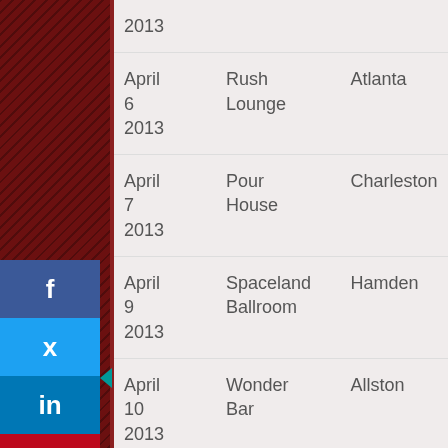| Date | Venue | City |
| --- | --- | --- |
| April
6
2013 | Rush
Lounge | Atlanta |
| April
7
2013 | Pour
House | Charleston |
| April
9
2013 | Spaceland
Ballroom | Hamden |
| April
10
2013 | Wonder
Bar | Allston |
| April
11
2013 | Highline
Ballroom | New York |